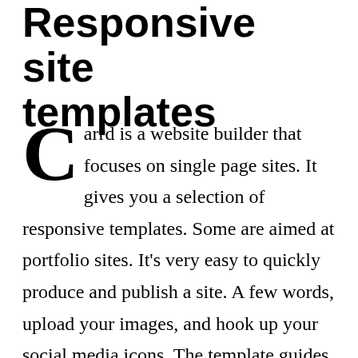Responsive site templates
Carrd is a website builder that focuses on single page sites. It gives you a selection of responsive templates. Some are aimed at portfolio sites. It’s very easy to quickly produce and publish a site. A few words, upload your images, and hook up your social media icons. The template guides you throughout. Carrd handles the hosting, and it’s SSL.